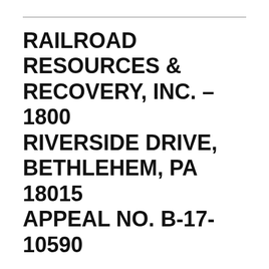RAILROAD RESOURCES & RECOVERY, INC. – 1800 RIVERSIDE DRIVE, BETHLEHEM, PA 18015 APPEAL NO. B-17-10590
Hear the Appeal No. B-17-10590 of David Emili, Railroad Resources & Recovery, Inc. Applicant requests relief from the Pennsylvania Uniform